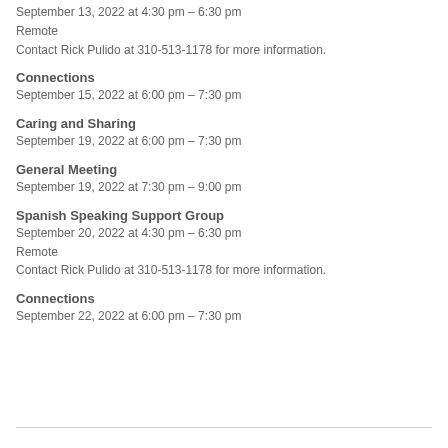September 13, 2022 at 4:30 pm – 6:30 pm
Remote
Contact Rick Pulido at 310-513-1178 for more information.
Connections
September 15, 2022 at 6:00 pm – 7:30 pm
Caring and Sharing
September 19, 2022 at 6:00 pm – 7:30 pm
General Meeting
September 19, 2022 at 7:30 pm – 9:00 pm
Spanish Speaking Support Group
September 20, 2022 at 4:30 pm – 6:30 pm
Remote
Contact Rick Pulido at 310-513-1178 for more information.
Connections
September 22, 2022 at 6:00 pm – 7:30 pm